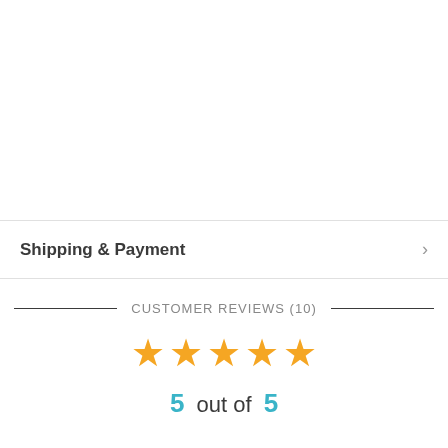Shipping & Payment
CUSTOMER REVIEWS (10)
[Figure (other): Five gold star rating icons displayed in a row]
5 out of 5